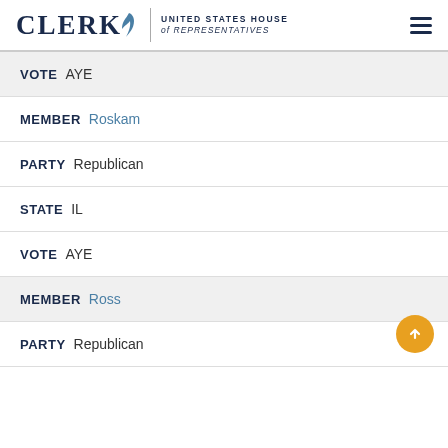CLERK UNITED STATES HOUSE of REPRESENTATIVES
| Field | Value |
| --- | --- |
| VOTE | AYE |
| MEMBER | Roskam |
| PARTY | Republican |
| STATE | IL |
| VOTE | AYE |
| MEMBER | Ross |
| PARTY | Republican |